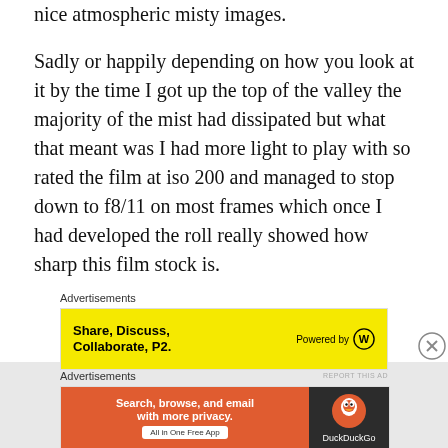nice atmospheric misty images.
Sadly or happily depending on how you look at it by the time I got up the top of the valley the majority of the mist had dissipated but what that meant was I had more light to play with so rated the film at iso 200 and managed to stop down to f8/11 on most frames which once I had developed the roll really showed how sharp this film stock is.
Advertisements
[Figure (infographic): Yellow advertisement banner: Share, Discuss, Collaborate, P2. Powered by WordPress logo.]
REPORT THIS AD
Advertisements
[Figure (infographic): DuckDuckGo advertisement: Search, browse, and email with more privacy. All in One Free App. DuckDuckGo logo on dark background.]
REPORT THIS AD